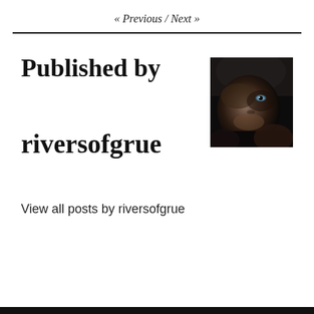« Previous / Next »
Published by
[Figure (photo): Dark portrait photo of a person's face partially obscured, moody dark tones]
riversofgrue
View all posts by riversofgrue